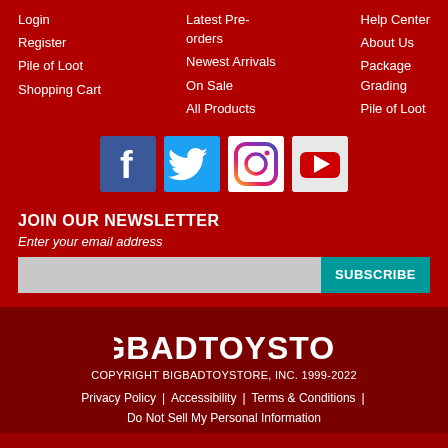Login
Register
Pile of Loot
Shopping Cart
Latest Pre-orders
Newest Arrivals
On Sale
All Products
Help Center
About Us
Package Grading
Pile of Loot
[Figure (logo): Facebook icon - blue square with white f]
[Figure (logo): Twitter icon - light blue square with white bird]
[Figure (logo): Instagram icon - white square with gradient camera logo]
[Figure (logo): YouTube icon - light grey square with red play button]
JOIN OUR NEWSLETTER
Enter your email address
SUBSCRIBE
[Figure (logo): BIGBADTOYSTORE logo in white bold text on dark red background]
COPYRIGHT BIGBADTOYSTORE, INC. 1999-2022
Privacy Policy | Accessibility | Terms & Conditions | Do Not Sell My Personal Information